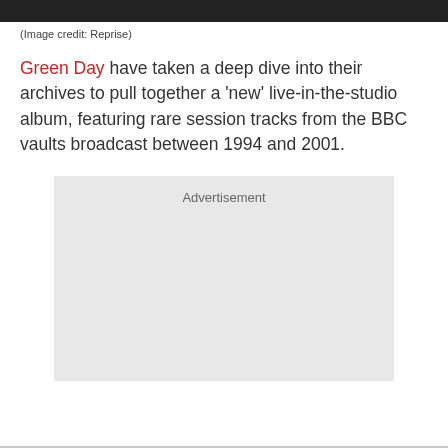[Figure (photo): Dark image strip at the top of the page, partial view of a photo]
(Image credit: Reprise)
Green Day have taken a deep dive into their archives to pull together a 'new' live-in-the-studio album, featuring rare session tracks from the BBC vaults broadcast between 1994 and 2001.
[Figure (other): Advertisement placeholder box]